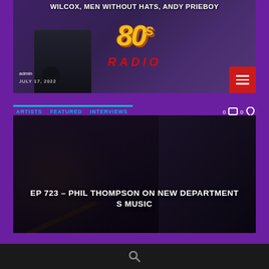WILCOX, MEN WITHOUT HATS, ANDY PRIEBOY
[Figure (screenshot): 80s Radio logo with man in sunglasses]
admin
JULY 17, 2022
ARTISTS
FEATURED
INTERVIEWS
0   0
EP 723 – PHIL THOMPSON ON NEW DEPARTMENT S MUSIC
[Figure (photo): Person playing guitar with sunglasses, dark background]
[Figure (other): Search icon bar at bottom]